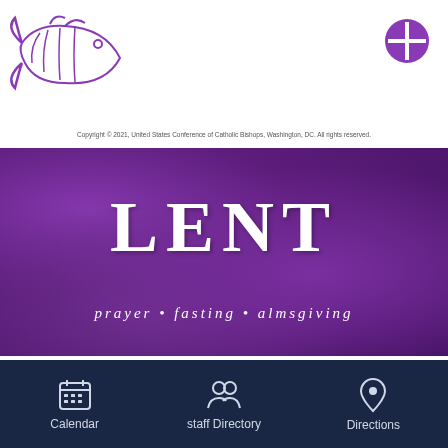[Figure (logo): Purple fish logo (ichthys style) in top left]
[Figure (logo): Purple circle cross logo in top right]
Copyright © 2021, United States Conference of Catholic Bishops, Washington, DC. All rights reserved.
[Figure (illustration): Lent banner with purple textured background showing 'LENT' in large white serif font and subtitle 'prayer • fasting • almsgiving']
Lent Club for Children...
Calendar  staff Directory  Directions